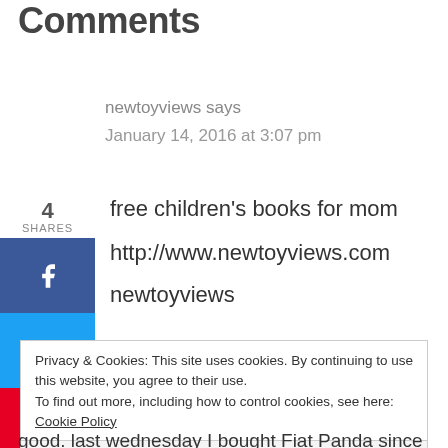Comments
newtoyviews says
January 14, 2016 at 3:07 pm
4
SHARES
free children's books for mom
http://www.newtoyviews.com
newtoyviews
Privacy & Cookies: This site uses cookies. By continuing to use this website, you agree to their use.
To find out more, including how to control cookies, see here: Cookie Policy
Close and accept
good. last wednesday I bought Fiat Panda since getting